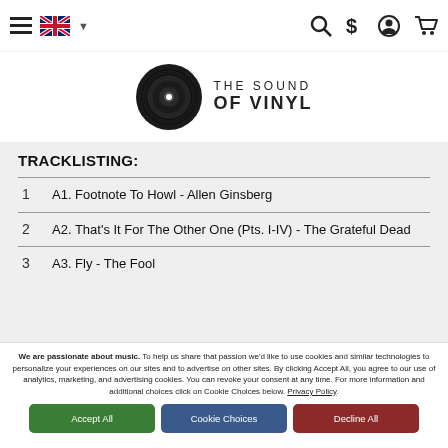Navigation bar with hamburger menu, UK flag, search, dollar, account, cart icons
[Figure (logo): The Sound of Vinyl logo with vinyl record disc and text]
TRACKLISTING:
1  A1. Footnote To Howl - Allen Ginsberg
2  A2. That's It For The Other One (Pts. I-IV) - The Grateful Dead
3  A3. Fly - The Fool
We are passionate about music. To help us share that passion we'd like to use cookies and similar technologies to personalize your experiences on our sites and to advertise on other sites. By clicking Accept All, you agree to our use of analytics, marketing, and advertising cookies. You can revoke your consent at any time. For more information and additional choices click on Cookie Choices below. Privacy Policy.